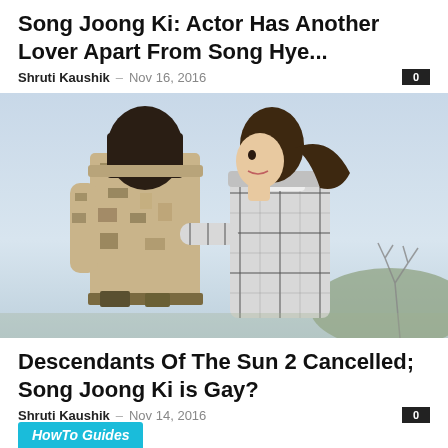Song Joong Ki: Actor Has Another Lover Apart From Song Hye...
Shruti Kaushik – Nov 16, 2016
[Figure (photo): Two people in an embrace outdoors; one wearing military camouflage uniform, the other in a plaid shirt, facing each other closely.]
Descendants Of The Sun 2 Cancelled; Song Joong Ki is Gay?
Shruti Kaushik – Nov 14, 2016
HowTo Guides